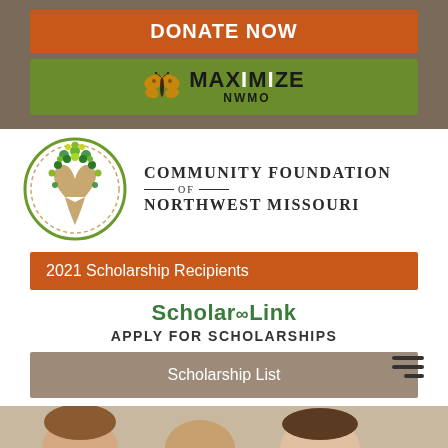DONATE NOW
[Figure (logo): MAXIMIZE NWMO logo with butterfly on green background]
[Figure (logo): Community Foundation of Northwest Missouri logo — circular tree logo with colored dots]
2021 Scholarship Recipients
ScholarLink
APPLY FOR SCHOLARSHIPS
Scholarship List
[Figure (photo): Partial photo of person at bottom of page]